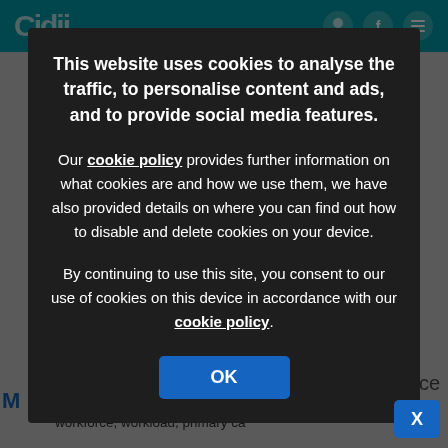[Figure (screenshot): Website header bar in teal color with partial logo visible on left and navigation icons on right]
This website uses cookies to analyse the traffic, to personalise content and ads, and to provide social media features.
Our cookie policy provides further information on what cookies are and how we use them, we have also provided details on where you can find out how to disable and delete cookies on your device.
By continuing to use this site, you consent to our use of cookies on this device in accordance with our cookie policy.
OK
Guidelines in Practice readers shared their views on workforce, workload, primary ca